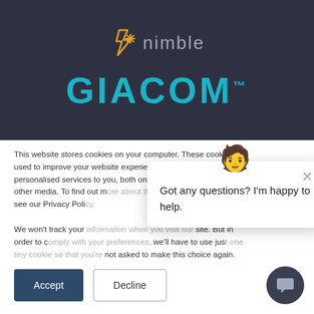[Figure (logo): Nimble logo with icon and text in grey header section]
GIACOM™
This website stores cookies on your computer. These cookies are used to improve your website experience and provide more personalised services to you, both on this website and through other media. To find out more about the cookies we use, see our Privacy Policy.
We won't track your information when you visit our site. But in order to comply with your preferences, we'll have to use just one tiny cookie so that you're not asked to make this choice again.
[Figure (screenshot): Chat popup widget with face emoji avatar, close button, and message: Got any questions? I'm happy to help.]